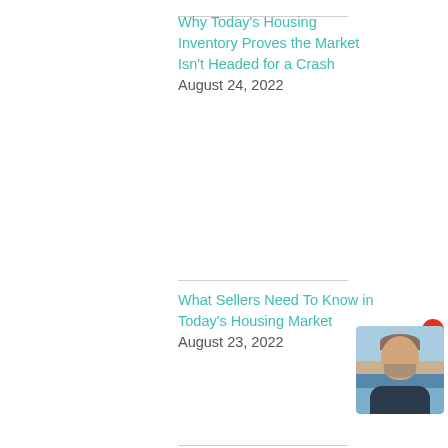Why Today's Housing Inventory Proves the Market Isn't Headed for a Crash
August 24, 2022
What Sellers Need To Know in Today's Housing Market
August 23, 2022
[Figure (photo): Headshot of a middle-aged man with grey hair and beard, wearing a dark blazer, with a blue sky and tan/water background. A red circle notification dot appears in the top-right corner of the image.]